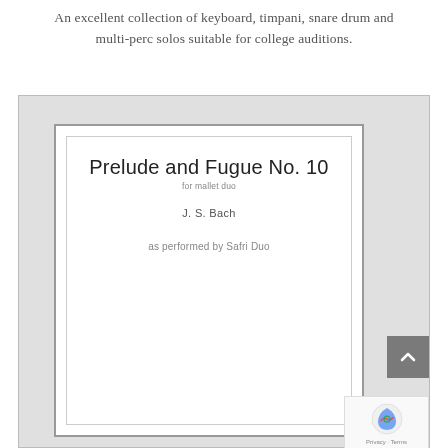An excellent collection of keyboard, timpani, snare drum and multi-perc solos suitable for college auditions.
[Figure (illustration): Sheet music cover for 'Prelude and Fugue No. 10 for mallet duo' by J. S. Bach, as performed by Safri Duo. The cover shows a white page with a double border, large title text, composer name, and subtitle, shown within a gray-framed book display.]